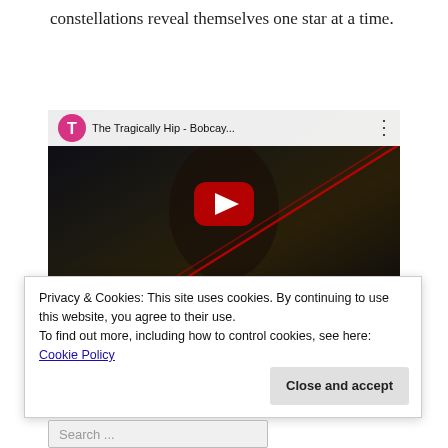constellations reveal themselves one star at a time.
[Figure (screenshot): YouTube video thumbnail showing a Vevo HD music video by The Tragically Hip - Bobcay... with a red play button in the center, a man driving a car with a glowing steering wheel, red diagonal lines across the image.]
Privacy & Cookies: This site uses cookies. By continuing to use this website, you agree to their use.
To find out more, including how to control cookies, see here: Cookie Policy
Close and accept
Search ...